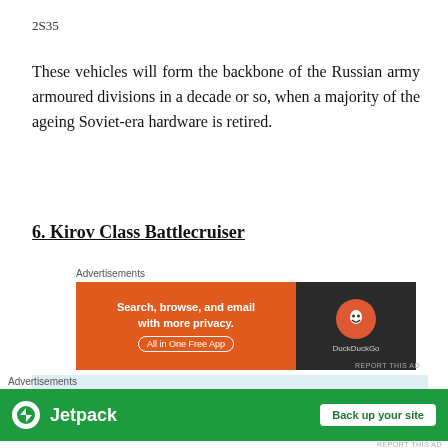2S35
These vehicles will form the backbone of the Russian army armoured divisions in a decade or so, when a majority of the ageing Soviet-era hardware is retired.
6. Kirov Class Battlecruiser
[Figure (other): DuckDuckGo advertisement banner: orange left panel with text 'Search, browse, and email with more privacy. All in One Free App' and dark right panel with DuckDuckGo logo]
[Figure (other): Light blue advertisement banner with a faint building/ship illustration in the center]
[Figure (other): Jetpack advertisement banner: green background with Jetpack logo and 'Back up your site' button]